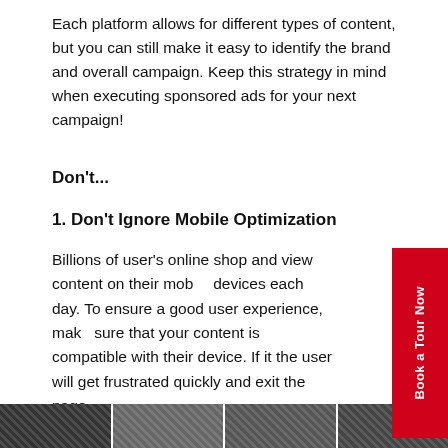Each platform allows for different types of content, but you can still make it easy to identify the brand and overall campaign. Keep this strategy in mind when executing sponsored ads for your next campaign!
Don't...
1. Don't Ignore Mobile Optimization
Billions of user's online shop and view content on their mobile devices each day. To ensure a good user experience, make sure that your content is compatible with their device. If it the user will get frustrated quickly and exit the page.
Implement the same optimization when switching from mobile device to a tablet or desktop.
[Figure (other): Red vertical sidebar button with text 'Book a Tour Now' rotated vertically]
[Figure (other): Bottom strip of thumbnail images partially visible]